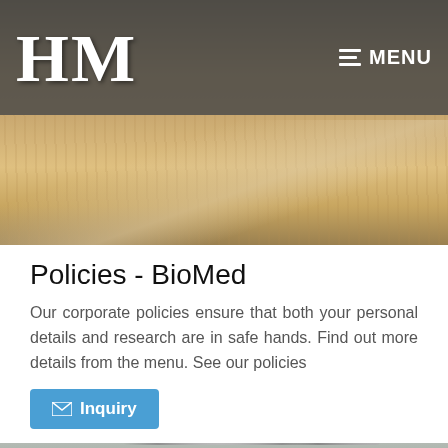[Figure (photo): Header with HM logo on dark background and wooden surface photo below]
HM   MENU
Policies - BioMed
Our corporate policies ensure that both your personal details and research are in safe hands. Find out more details from the menu. See our policies
[Figure (photo): Inquiry button with envelope icon in blue]
[Figure (photo): Bottom photo showing metallic cylindrical discs in an industrial setting]